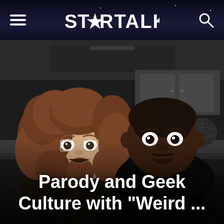STARTALK
[Figure (photo): Two men posing with exaggerated surprised/excited expressions indoors. The man on the left has long curly hair and wears a tropical print shirt. The man on the right wears a black shirt. They appear to be in a kitchen or studio setting.]
Parody and Geek Culture with "Weird ..."